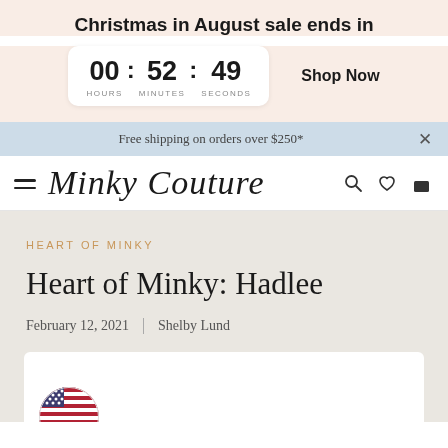Christmas in August sale ends in
00 : 52 : 49 HOURS MINUTES SECONDS
Shop Now
Free shipping on orders over $250*
Minky Couture
HEART OF MINKY
Heart of Minky: Hadlee
February 12, 2021  |  Shelby Lund
[Figure (illustration): Partial view of a US flag circular icon at bottom of page]